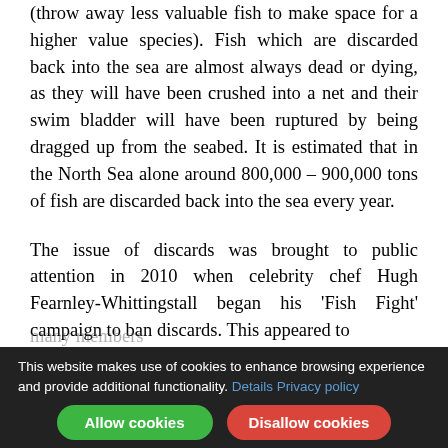(throw away less valuable fish to make space for a higher value species). Fish which are discarded back into the sea are almost always dead or dying, as they will have been crushed into a net and their swim bladder will have been ruptured by being dragged up from the seabed. It is estimated that in the North Sea alone around 800,000 – 900,000 tons of fish are discarded back into the sea every year.
The issue of discards was brought to public attention in 2010 when celebrity chef Hugh Fearnley-Whittingstall began his 'Fish Fight' campaign to ban discards. This appeared to many members...
This website makes use of cookies to enhance browsing experience and provide additional functionality. Details Privacy policy Allow cookies Disallow cookies